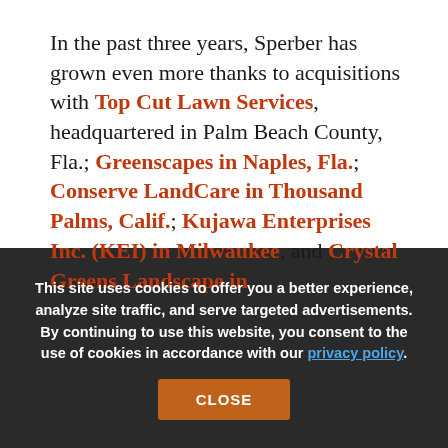In the past three years, Sperber has grown even more thanks to acquisitions with Top Cut Lawn Services, headquartered in Palm Beach County, Fla.; Greenscapes in Naples, Fla.; Conserve LandCare in Thousand Palms, Calif.; Kujawa Enterprises Inc. (KEI) in Milwaukee, and Crystal Greens Landscape in
This site uses cookies to offer you a better experience, analyze site traffic, and serve targeted advertisements. By continuing to use this website, you consent to the use of cookies in accordance with our privacy policy.